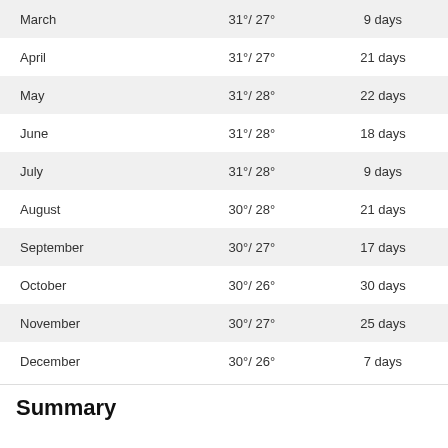| Month | Temperature | Rainy Days |
| --- | --- | --- |
| March | 31°/ 27° | 9 days |
| April | 31°/ 27° | 21 days |
| May | 31°/ 28° | 22 days |
| June | 31°/ 28° | 18 days |
| July | 31°/ 28° | 9 days |
| August | 30°/ 28° | 21 days |
| September | 30°/ 27° | 17 days |
| October | 30°/ 26° | 30 days |
| November | 30°/ 27° | 25 days |
| December | 30°/ 26° | 7 days |
Summary